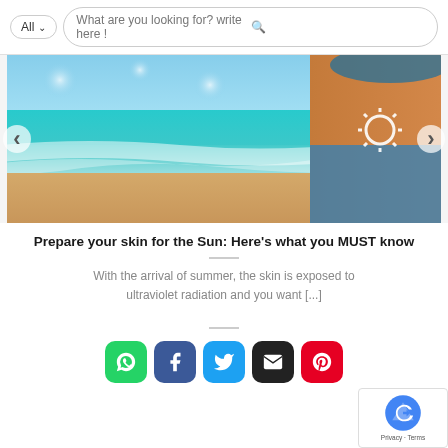All  What are you looking for? write here !
[Figure (photo): Woman at beach with sunscreen drawn in sun shape on her shoulder, blue ocean and sandy beach in background]
Prepare your skin for the Sun: Here’s what you MUST know
With the arrival of summer, the skin is exposed to ultraviolet radiation and you want [...]
[Figure (infographic): Social share buttons: WhatsApp (green), Facebook (blue), Twitter (light blue), Email (black), Pinterest (red)]